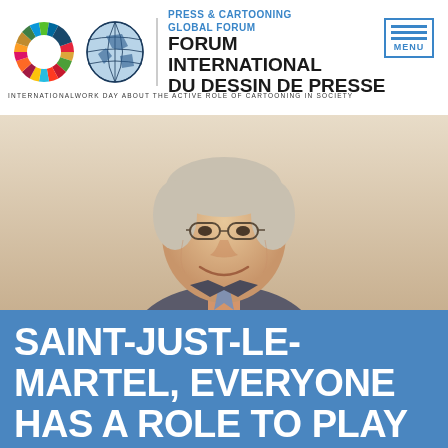[Figure (logo): Press & Cartooning Global Forum logo with SDG colorful wheel, globe illustration, and bilingual forum name text]
INTERNATIONAL WORK DAY ABOUT THE ACTIVE ROLE OF CARTOONING IN SOCIETY
[Figure (photo): Portrait photograph of an older smiling man with glasses and gray hair, wearing a suit and tie, light background]
SAINT-JUST-LE-MARTEL, EVERYONE HAS A ROLE TO PLAY